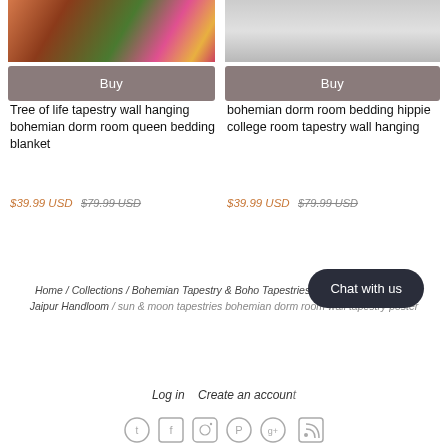[Figure (photo): Partial product image showing bohemian tapestry with furniture on colorful rug]
[Figure (photo): Partial product image showing soft white/grey fabric bedding]
Buy
Buy
Tree of life tapestry wall hanging bohemian dorm room queen bedding blanket
bohemian dorm room bedding hippie college room tapestry wall hanging
$39.99 USD $79.99 USD
$39.99 USD $79.99 USD
Home / Collections / Bohemian Tapestry & Boho Tapestries | Bohemain Bedding | Jaipur Handloom / sun & moon tapestries bohemian dorm room wall tapestry poster
Chat with us
Log in   Create an account
[Figure (illustration): Social media icons: Twitter, Facebook, Instagram, Pinterest, Google+, RSS]